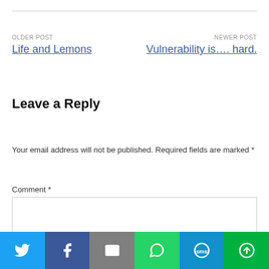OLDER POST
Life and Lemons
NEWER POST
Vulnerability is…. hard.
Leave a Reply
Your email address will not be published. Required fields are marked *
Comment *